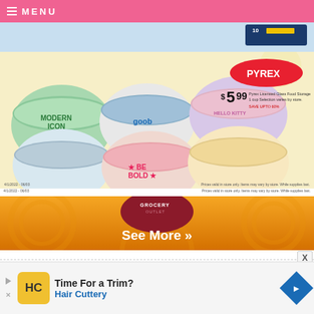≡ MENU
[Figure (photo): Partial view of a product/advertisement strip with blue background and dark blue product box labeled '10']
[Figure (photo): Pyrex licensed Glass Food Storage advertisement on yellow background showing multiple decorative round glass containers with lids (Modern Icon, Goob, Hello Kitty, Be Bold designs). Price shown as $5.99. Text: Pyrex Licensed Glass Food Storage 1 cup Selection varies by store. SAVE UPTO 60%]
Prices valid in store only. Items may vary by store. While supplies last.
[Figure (photo): Grocery Outlet orange banner with 'See More »' text and Grocery Outlet logo oval in dark red/maroon]
[Figure (photo): Advertisement for Hair Cuttery: 'Time For a Trim? Hair Cuttery' with yellow HC logo and blue diamond navigation icon]